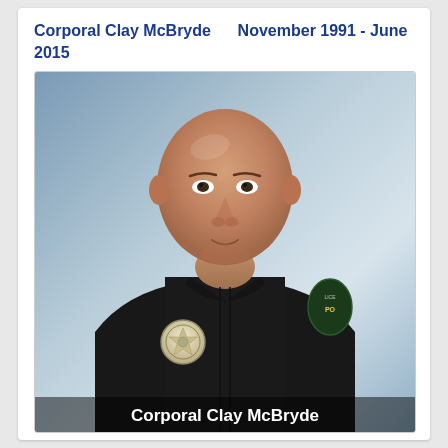Corporal Clay McBryde      November 1991 - June 2015
[Figure (photo): Official police portrait of Corporal Clay McBryde, a bald man in a black police uniform with a badge and a police shoulder patch, against a blue gradient background. Overlay text at the bottom reads 'Corporal Clay McBryde'.]